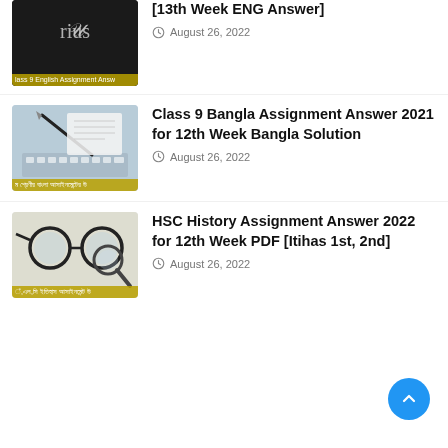[Figure (photo): Dark thumbnail with cursive text overlay and Bengali text label at bottom reading 'Class 9 English Assignment Answer']
[13th Week ENG Answer]
August 26, 2022
[Figure (photo): Pen and keyboard image with Bengali text label about Class 9 Bangla assignment]
Class 9 Bangla Assignment Answer 2021 for 12th Week Bangla Solution
August 26, 2022
[Figure (photo): Glasses and magnifying glass image with yellow Bengali text label about HSC History assignment]
HSC History Assignment Answer 2022 for 12th Week PDF [Itihas 1st, 2nd]
August 26, 2022